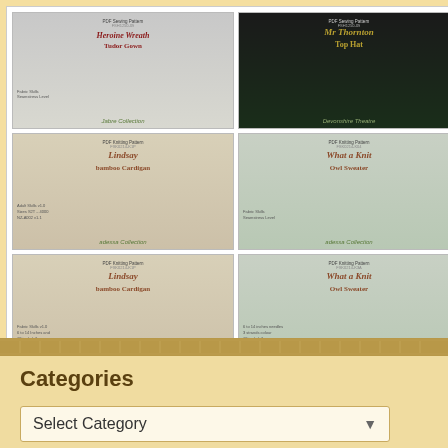[Figure (other): Grid of 6 doll sewing pattern product cards arranged in 2 columns and 3 rows. Row 1: Heroine Wreath/Tudor Gown pattern (doll in grey dress) and Mr Thornton Top Hat pattern (doll in black top hat). Row 2: Lindsay bamboo Cardigan pattern (doll in brown cardigan) and What a Knit Owl Sweater pattern (doll in grey sweater). Row 3: Lindsay bamboo Cardigan pattern (doll in white outfit) and What a Knit Owl Sweater pattern (doll in grey sweater).]
Etsy
SwishAndSwirl
Categories
Select Category